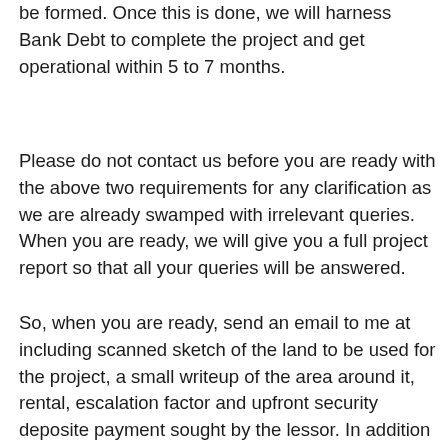be formed. Once this is done, we will harness Bank Debt to complete the project and get operational within 5 to 7 months.
Please do not contact us before you are ready with the above two requirements for any clarification as we are already swamped with irrelevant queries. When you are ready, we will give you a full project report so that all your queries will be answered.
So, when you are ready, send an email to me at including scanned sketch of the land to be used for the project, a small writeup of the area around it, rental, escalation factor and upfront security deposite payment sought by the lessor. In addition give proof of funds available (bank